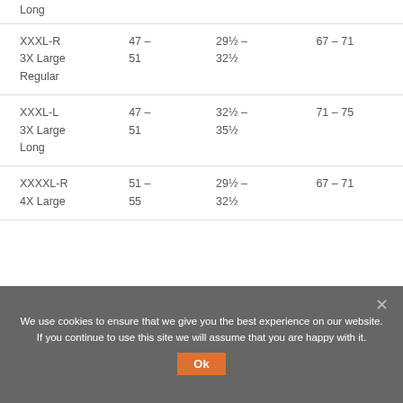| Size | Chest (in) | Waist (in) | Height (in) |
| --- | --- | --- | --- |
| Long |  |  |  |
| XXXL-R
3X Large
Regular | 47 – 51 | 29½ – 32½ | 67 – 71 |
| XXXL-L
3X Large
Long | 47 – 51 | 32½ – 35½ | 71 – 75 |
| XXXXL-R
4X Large | 51 – 55 | 29½ – 32½ | 67 – 71 |
We use cookies to ensure that we give you the best experience on our website. If you continue to use this site we will assume that you are happy with it.